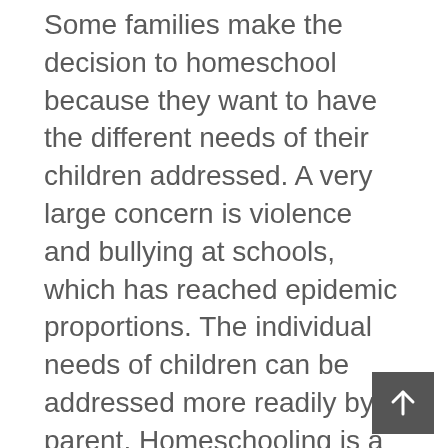Some families make the decision to homeschool because they want to have the different needs of their children addressed. A very large concern is violence and bullying at schools, which has reached epidemic proportions. The individual needs of children can be addressed more readily by a parent. Homeschooling is a very serious commitment, one to not be taken on lightly. Do your research and find a local homeschooling chapter or association in your area to connect with. They would be only too happy to share with you the pros and cons of homeschooling. Moral and Social concerns are also easier to control when schooling at